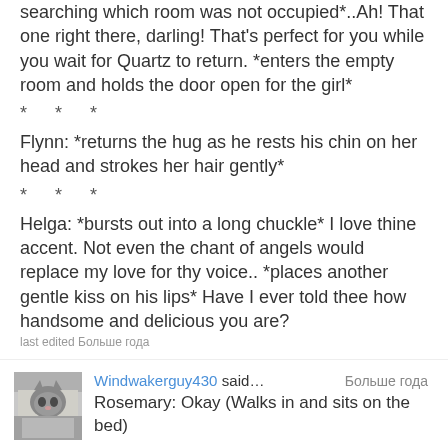searching which room was not occupied*..Ah! That one right there, darling! That's perfect for you while you wait for Quartz to return. *enters the empty room and holds the door open for the girl*
* * *
Flynn: *returns the hug as he rests his chin on her head and strokes her hair gently*
* * *
Helga: *bursts out into a long chuckle* I love thine accent. Not even the chant of angels would replace my love for thy voice.. *places another gentle kiss on his lips* Have I ever told thee how handsome and delicious you are?
last edited Больше года
Windwakerguy430 said… Больше года
Rosemary: Okay (Walks in and sits on the bed)